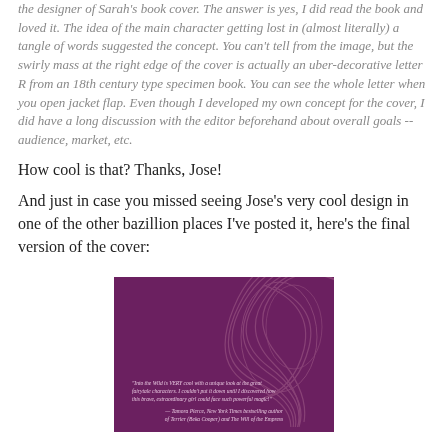the designer of Sarah's book cover. The answer is yes, I did read the book and loved it. The idea of the main character getting lost in (almost literally) a tangle of words suggested the concept. You can't tell from the image, but the swirly mass at the right edge of the cover is actually an uber-decorative letter R from an 18th century type specimen book. You can see the whole letter when you open jacket flap. Even though I developed my own concept for the cover, I did have a long discussion with the editor beforehand about overall goals -- audience, market, etc.
How cool is that? Thanks, Jose!
And just in case you missed seeing Jose's very cool design in one of the other bazillion places I've posted it, here's the final version of the cover:
[Figure (photo): Book cover image with dark purple/magenta background featuring decorative swirling letter R motif, with a quote from Tamora Pierce praising 'Into the Wild']